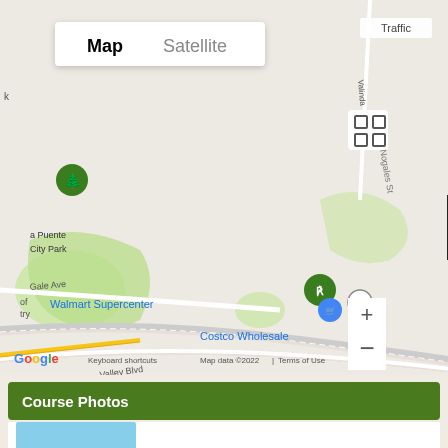[Figure (map): Google Maps view showing South San Jose Hills area with landmarks including Walmart Supercenter, Costco Wholesale, Frank & Son Collectible Show, a Puente City Park, and a green flag marker. Map/Satellite toggle visible at top left. Traffic button top right. Zoom controls and Street View pegman on right side. Google logo and attribution at bottom.]
Course Photos